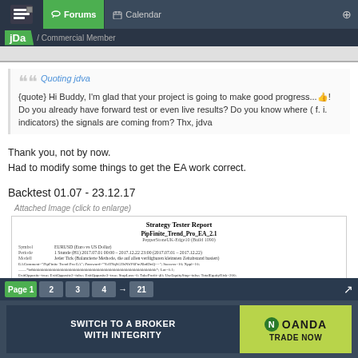Forums | Calendar
jDa / Commercial Member
Quoting jdva
{quote} Hi Buddy, I'm glad that your project is going to make good progress...👍! Do you already have forward test or even live results? Do you know where ( f. i. indicators) the signals are coming from? Thx, jdva
Thank you, not by now.
Had to modify some things to get the EA work correct.
Backtest 01.07 - 23.12.17
Attached Image (click to enlarge)
[Figure (screenshot): Strategy Tester Report screenshot showing PipFinite_Trend_Pro_EA_2.1 on PepperStoneUK-Edge10 (Build 1090), EURUSD symbol, 1 Stunde (H1) period 2017.07.01-2017.12.22, with EA parameters listed]
Page 1  2  3  4  →  21